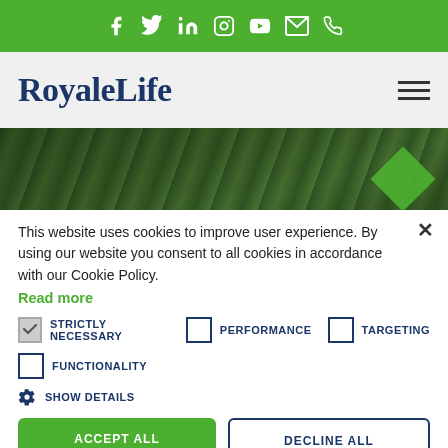Social media icons: Facebook, Twitter, LinkedIn, Instagram, YouTube, Email, Phone
[Figure (logo): RoyaleLife company logo in dark blue serif font with hamburger menu icon]
[Figure (photo): Hero image showing green forest/trees with a green diamond badge]
This website uses cookies to improve user experience. By using our website you consent to all cookies in accordance with our Cookie Policy. Read more
STRICTLY NECESSARY (checked), PERFORMANCE (unchecked), TARGETING (unchecked)
FUNCTIONALITY (unchecked)
SHOW DETAILS
ACCEPT ALL | DECLINE ALL